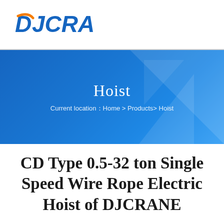[Figure (logo): DJCRANES company logo with orange arc and blue text]
[Figure (infographic): Blue banner with geometric light shapes, title 'Hoist', breadcrumb 'Current location：Home > Products> Hoist']
CD Type 0.5-32 ton Single Speed Wire Rope Electric Hoist of DJCRANE